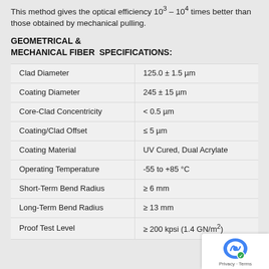This method gives the optical efficiency 10 – 10 times better than those obtained by mechanical pulling.
GEOMETRICAL & MECHANICAL FIBER SPECIFICATIONS:
| Parameter | Value |
| --- | --- |
| Clad Diameter | 125.0 ± 1.5 µm |
| Coating Diameter | 245 ± 15 µm |
| Core-Clad Concentricity | < 0.5 µm |
| Coating/Clad Offset | ≤ 5 µm |
| Coating Material | UV Cured, Dual Acrylate |
| Operating Temperature | -55 to +85 °C |
| Short-Term Bend Radius | ≥ 6 mm |
| Long-Term Bend Radius | ≥ 13 mm |
| Proof Test Level | ≥ 200 kpsi (1.4 GN/m²) |